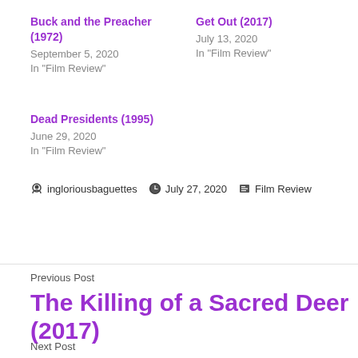Buck and the Preacher (1972)
September 5, 2020
In "Film Review"
Get Out (2017)
July 13, 2020
In "Film Review"
Dead Presidents (1995)
June 29, 2020
In "Film Review"
ingloriousbaguettes   July 27, 2020   Film Review
Previous Post
The Killing of a Sacred Deer (2017)
Next Post